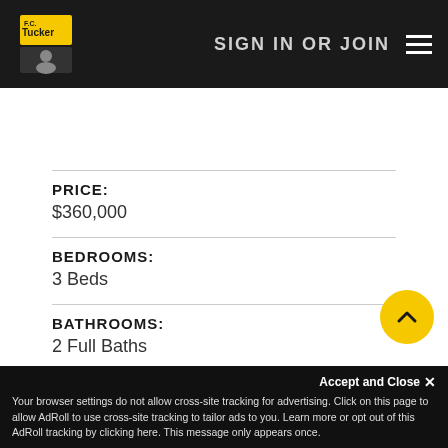SIGN IN OR JOIN
[Figure (screenshot): Tucker real estate logo on dark navigation bar with SIGN IN OR JOIN text and hamburger menu]
[Figure (screenshot): Toolbar with back arrow, share, edit, email, chat, print, and heart (favorite) buttons]
PRICE:
$360,000
BEDROOMS:
3 Beds
BATHROOMS:
2 Full Baths
SQ. FEET:
1,815
YEAR BUILT:
2009
Accept and Close ✕
Your browser settings do not allow cross-site tracking for advertising. Click on this page to allow AdRoll to use cross-site tracking to tailor ads to you. Learn more or opt out of this AdRoll tracking by clicking here. This message only appears once.